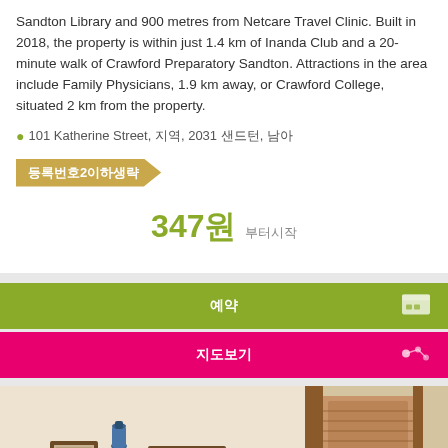Sandton Library and 900 metres from Netcare Travel Clinic. Built in 2018, the property is within just 1.4 km of Inanda Club and a 20-minute walk of Crawford Preparatory Sandton. Attractions in the area include Family Physicians, 1.9 km away, or Crawford College, situated 2 km from the property.
101 Katherine Street, 지역, 2031 샌드턴, 남아
등록번호2이하생략
347원 부터시작
예약
지도보기
[Figure (photo): Interior room photo showing a hotel room with framed artwork on walls, a decorative vase on a wall bracket, warm lighting, and wooden door/shutters visible on the right side]